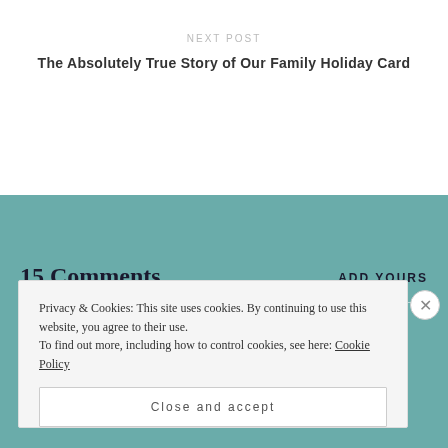NEXT POST
The Absolutely True Story of Our Family Holiday Card
15 Comments
ADD YOURS
Privacy & Cookies: This site uses cookies. By continuing to use this website, you agree to their use.
To find out more, including how to control cookies, see here: Cookie Policy
Close and accept